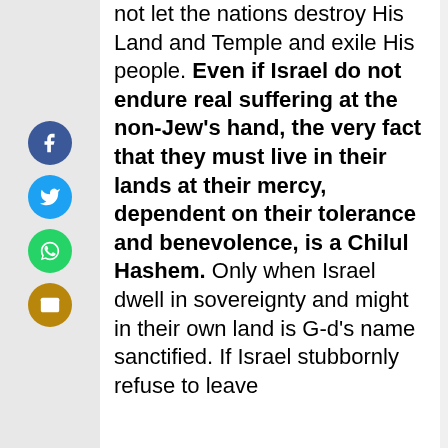[Figure (infographic): Social media sharing sidebar with Facebook, Twitter, WhatsApp, and Email buttons]
not let the nations destroy His Land and Temple and exile His people. Even if Israel do not endure real suffering at the non-Jew's hand, the very fact that they must live in their lands at their mercy, dependent on their tolerance and benevolence, is a Chilul Hashem. Only when Israel dwell in sovereignty and might in their own land is G-d's name sanctified. If Israel stubbornly refuse to leave